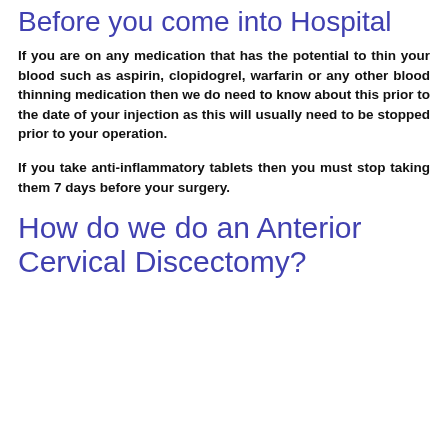Before you come into Hospital
If you are on any medication that has the potential to thin your blood such as aspirin, clopidogrel, warfarin or any other blood thinning medication then we do need to know about this prior to the date of your injection as this will usually need to be stopped prior to your operation.
If you take anti-inflammatory tablets then you must stop taking them 7 days before your surgery.
How do we do an Anterior Cervical Discectomy?